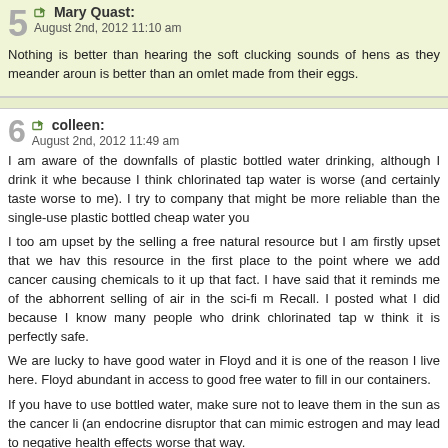5 Mary Quast: August 2nd, 2012 11:10 am
Nothing is better than hearing the soft clucking sounds of hens as they meander around is better than an omlet made from their eggs.
6 colleen: August 2nd, 2012 11:49 am
I am aware of the downfalls of plastic bottled water drinking, although I drink it when because I think chlorinated tap water is worse (and certainly taste worse to me). I try to company that might be more reliable than the single-use plastic bottled cheap water you
I too am upset by the selling a free natural resource but I am firstly upset that we have this resource in the first place to the point where we add cancer causing chemicals to it up that fact. I have said that it reminds me of the abhorrent selling of air in the sci-fi mo Recall. I posted what I did because I know many people who drink chlorinated tap w think it is perfectly safe.
We are lucky to have good water in Floyd and it is one of the reason I live here. Floyd abundant in access to good free water to fill in our containers.
If you have to use bottled water, make sure not to leave them in the sun as the cancer lin (an endocrine disruptor that can mimic estrogen and may lead to negative health effects) worse that way.
7 starwomanspirit: August 2nd, 2012 12:36 pm
I know what you mean….I keep trying to get my city friends to set up a Berkey water filte homes….and it is great that Floydfest provides clean water so folks can refill instead o buy expensive over priced unhealthy bottled water.